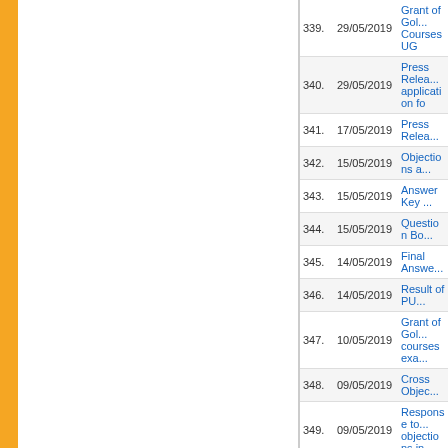| No. | Date | Title |
| --- | --- | --- |
| 339. | 29/05/2019 | Grant of Gol... Courses UG |
| 340. | 29/05/2019 | Press Relea... application fo |
| 341. | 17/05/2019 | Press Relea... |
| 342. | 15/05/2019 | Objections a... |
| 343. | 15/05/2019 | Answer Key ... |
| 344. | 15/05/2019 | Question Bo... |
| 345. | 14/05/2019 | Final Answe... |
| 346. | 14/05/2019 | Result of PU... |
| 347. | 10/05/2019 | Grant of Gol... courses exa... |
| 348. | 09/05/2019 | Cross Objec... |
| 349. | 09/05/2019 | Response to... objections in |
| 350. | 03/05/2019 | objection reg... |
| 351. | 03/05/2019 | Answer Key ... |
| 352. | 03/05/2019 | Question Bo... |